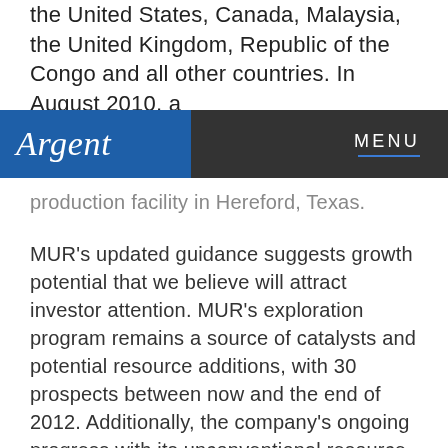the United States, Canada, Malaysia, the United Kingdom, Republic of the Congo and all other countries. In August 2010, a
Argent   MENU
production facility in Hereford, Texas.
MUR's updated guidance suggests growth potential that we believe will attract investor attention. MUR's exploration program remains a source of catalysts and potential resource additions, with 30 prospects between now and the end of 2012. Additionally, the company's ongoing progress with its unconventional resource growth in North America in proven areas like the Eagle Ford shale do not depend on exploration success. We also believe the odds are favorable that Murphy's earnings will surprise on the upside as the company has a history of solid production